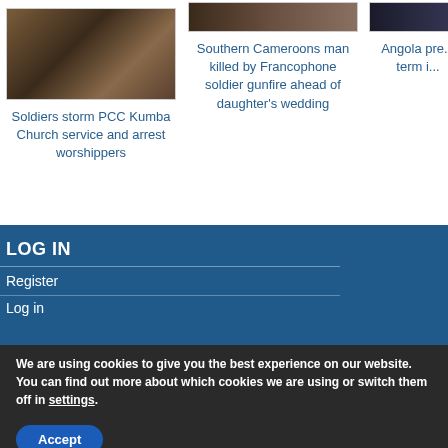[Figure (photo): Article card image showing soldiers/people scene, partially visible]
Soldiers storm PCC Kumba Church service and arrest worshippers
[Figure (photo): Article card image for Southern Cameroons story, partially visible]
Southern Cameroons man killed by Francophone soldier gunfire ahead of daughter's wedding
[Figure (photo): Article card image for Angola story, partially visible]
Angola pre... term...
LOG IN
Register
Log in
We are using cookies to give you the best experience on our website.
You can find out more about which cookies we are using or switch them off in settings.
Accept